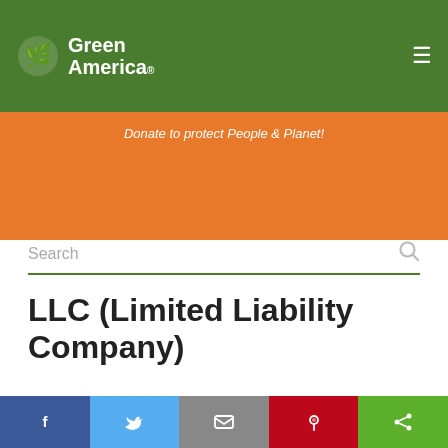Green America
Donate to protect People & Planet!
Search
LLC (Limited Liability Company)
| Logo | Company Name | Type |
| --- | --- | --- |
| [Natural Investments logo] | Natural Investments LLC | Green Business Member Profile |
| [BBSA logo] | BBSA | Green Business |
Facebook | Twitter | Email | Pinterest | Share